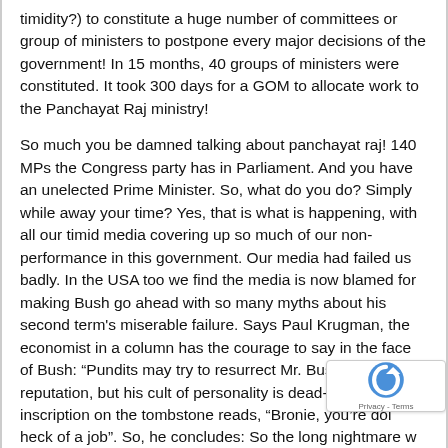timidity?) to constitute a huge number of committees or group of ministers to postpone every major decisions of the government! In 15 months, 40 groups of ministers were constituted. It took 300 days for a GOM to allocate work to the Panchayat Raj ministry!
So much you be damned talking about panchayat raj! 140 MPs the Congress party has in Parliament. And you have an unelected Prime Minister. So, what do you do? Simply while away your time? Yes, that is what is happening, with all our timid media covering up so much of our non-performance in this government. Our media had failed us badly. In the USA too we find the media is now blamed for making Bush go ahead with so many myths about his second term's miserable failure. Says Paul Krugman, the economist in a column has the courage to say in the face of Bush: "Pundits may try to resurrect Mr. Bush's reputation, but his cult of personality is dead-and the inscription on the tombstone reads, "Bronie, you're doi heck of a job". So, he concludes: So the long nightmare w really be over until journalists ask themselves what did know, when did we know it, and why didn't we tell the